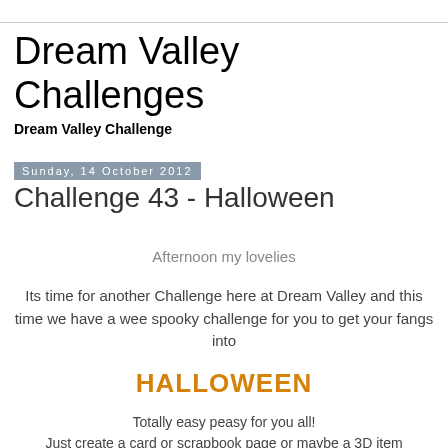Dream Valley Challenges
Dream Valley Challenge
Sunday, 14 October 2012
Challenge 43 - Halloween
Afternoon my lovelies
Its time for another Challenge here at Dream Valley and this time we have a wee spooky challenge for you to get your fangs into
HALLOWEEN
Totally easy peasy for you all!
Just create a card or scrapbook page or maybe a 3D item with a Halloween theme and you could win some fab wee